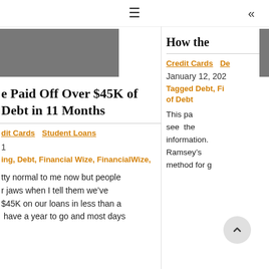≡  «
[Figure (photo): Gray image placeholder on left side]
[Figure (photo): Gray image placeholder on right side]
e Paid Off Over $45K of Debt in 11 Months
Credit Cards  Student Loans
1
ing, Debt, Financial Wize, FinancialWize,
tty normal to me now but people r jaws when I tell them we've $45K on our loans in less than a have a year to go and most days
How the
Credit Cards  De
January 12, 202
Tagged Debt, Fi of Debt
This pa see the information. Ramseyâs method for g